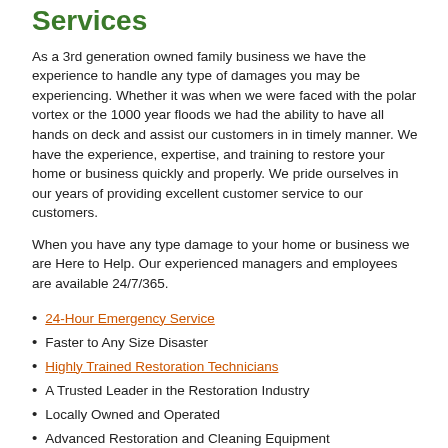Services
As a 3rd generation owned family business we have the experience to handle any type of damages you may be experiencing.  Whether it was when we were faced with the polar vortex or the 1000 year floods we had the ability to have all hands on deck and assist our customers in in timely manner. We have the experience, expertise, and training to restore your home or business quickly and properly. We pride ourselves in our years of providing excellent customer service to our customers.
When you have any type damage to your home or business we are Here to Help. Our experienced managers and employees are available 24/7/365.
24-Hour Emergency Service
Faster to Any Size Disaster
Highly Trained Restoration Technicians
A Trusted Leader in the Restoration Industry
Locally Owned and Operated
Advanced Restoration and Cleaning Equipment
Have Questions? Call Us Today – (803) 955-